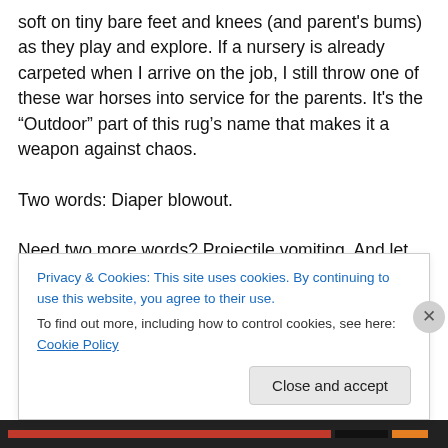soft on tiny bare feet and knees (and parent's bums) as they play and explore. If a nursery is already carpeted when I arrive on the job, I still throw one of these war horses into service for the parents. It's the “Outdoor” part of this rug’s name that makes it a weapon against chaos.

Two words: Diaper blowout.

Need two more words? Projectile vomiting. And let us not forget the food, craft supplies and other childhood detritus that can get ground into your flooring and carpet. Your nice, expensive, pre-baby, wall-to-wall carpet or flooring
Privacy & Cookies: This site uses cookies. By continuing to use this website, you agree to their use.
To find out more, including how to control cookies, see here: Cookie Policy